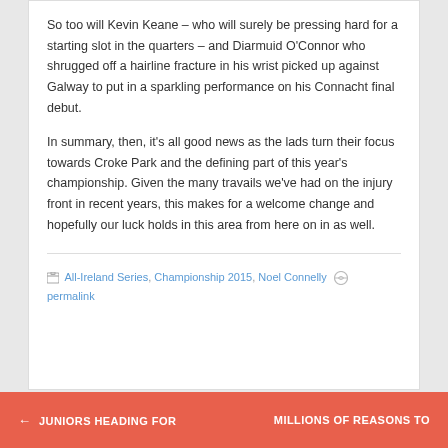So too will Kevin Keane – who will surely be pressing hard for a starting slot in the quarters – and Diarmuid O'Connor who shrugged off a hairline fracture in his wrist picked up against Galway to put in a sparkling performance on his Connacht final debut.
In summary, then, it's all good news as the lads turn their focus towards Croke Park and the defining part of this year's championship. Given the many travails we've had on the injury front in recent years, this makes for a welcome change and hopefully our luck holds in this area from here on in as well.
All-Ireland Series, Championship 2015, Noel Connelly  permalink
← JUNIORS HEADING FOR    MILLIONS OF REASONS TO